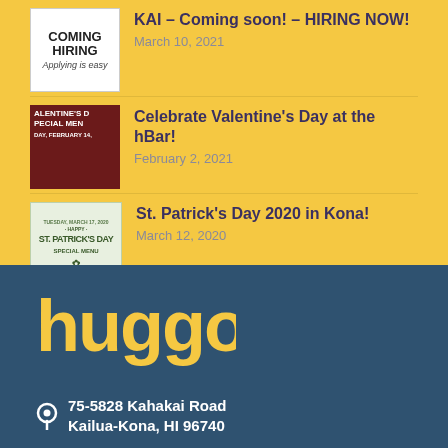KAI – Coming soon! – HIRING NOW! | March 10, 2021
Celebrate Valentine's Day at the hBar! | February 2, 2021
St. Patrick's Day 2020 in Kona! | March 12, 2020
[Figure (logo): Huggo's restaurant logo in yellow bubbly text on dark blue background]
75-5828 Kahakai Road
Kailua-Kona, HI 96740